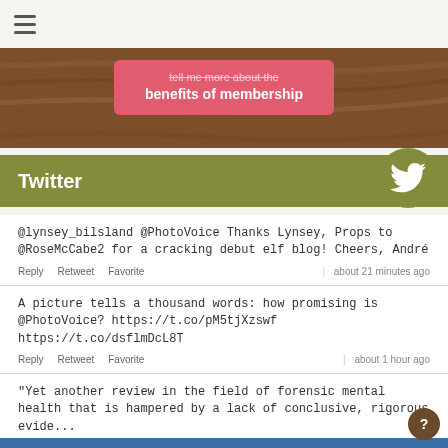[Figure (screenshot): Hamburger menu icon (three horizontal lines) in top left]
[Figure (screenshot): Wood-grain banner with pink membership button reading 'tell me more about the benefits of membership']
Twitter
@lynsey_bilsland @PhotoVoice Thanks Lynsey, Props to @RoseMcCabe2 for a cracking debut elf blog! Cheers, André
Reply   Retweet   Favorite   |   about 21 minutes ago
A picture tells a thousand words: how promising is @PhotoVoice? https://t.co/pM5tjXzswf https://t.co/dsflmDcL8T
Reply   Retweet   Favorite   |   about 1 hour ago
"Yet another review in the field of forensic mental health that is hampered by a lack of conclusive, rigorous evide... https://t.co/FzQuTIDIYg
Reply   Retweet   Favorite   |   about 9 hours ago